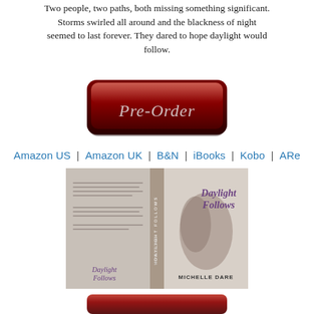Two people, two paths, both missing something significant. Storms swirled all around and the blackness of night seemed to last forever. They dared to hope daylight would follow.
[Figure (illustration): Red beveled button with italic script text 'Pre-Order' in silver/white on dark red background with metallic frame]
Amazon US | Amazon UK | B&N | iBooks | Kobo | ARe
[Figure (photo): Book cover for 'Daylight Follows' by Michelle Dare showing a couple embracing on a beach, with the book's front and back covers visible in a wraparound display]
[Figure (illustration): Red beveled button partially visible at bottom of page, same style as Pre-Order button above]